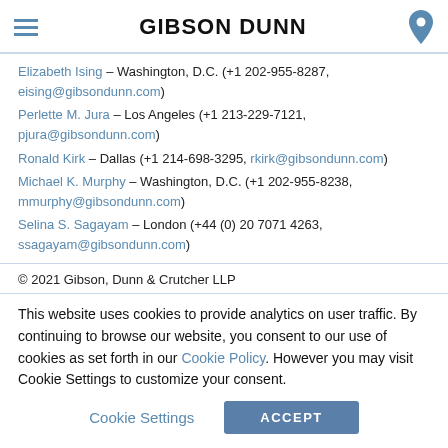GIBSON DUNN
Elizabeth Ising – Washington, D.C. (+1 202-955-8287, eising@gibsondunn.com)
Perlette M. Jura – Los Angeles (+1 213-229-7121, pjura@gibsondunn.com)
Ronald Kirk – Dallas (+1 214-698-3295, rkirk@gibsondunn.com)
Michael K. Murphy – Washington, D.C. (+1 202-955-8238, mmurphy@gibsondunn.com)
Selina S. Sagayam – London (+44 (0) 20 7071 4263, ssagayam@gibsondunn.com)
© 2021 Gibson, Dunn & Crutcher LLP
This website uses cookies to provide analytics on user traffic. By continuing to browse our website, you consent to our use of cookies as set forth in our Cookie Policy. However you may visit Cookie Settings to customize your consent.